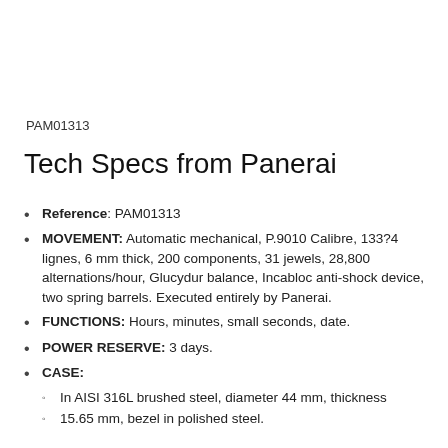PAM01313
Tech Specs from Panerai
Reference: PAM01313
MOVEMENT: Automatic mechanical, P.9010 Calibre, 133?4 lignes, 6 mm thick, 200 components, 31 jewels, 28,800 alternations/hour, Glucydur balance, Incabloc anti-shock device, two spring barrels. Executed entirely by Panerai.
FUNCTIONS: Hours, minutes, small seconds, date.
POWER RESERVE: 3 days.
CASE:
In AISI 316L brushed steel, diameter 44 mm, thickness
15.65 mm, bezel in polished steel.